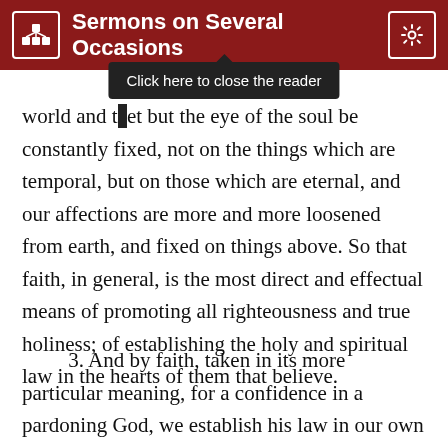Sermons on Several Occasions
world and t[...] but the eye of the soul be constantly fixed, not on the things which are temporal, but on those which are eternal, and our affections are more and more loosened from earth, and fixed on things above. So that faith, in general, is the most direct and effectual means of promoting all righteousness and true holiness; of establishing the holy and spiritual law in the hearts of them that believe.
3. And by faith, taken in its more particular meaning, for a confidence in a pardoning God, we establish his law in our own hearts in a still more